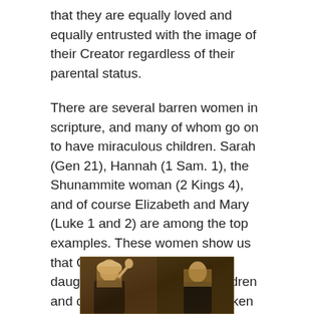that they are equally loved and equally entrusted with the image of their Creator regardless of their parental status.
There are several barren women in scripture, and many of whom go on to have miraculous children. Sarah (Gen 21), Hannah (1 Sam. 1), the Shunammite woman (2 Kings 4), and of course Elizabeth and Mary (Luke 1 and 2) are among the top examples. These women show us that God is merciful to His daughters who are without children and does not treat them as broken or inferior. Rather, they are vessels for God's power to be shown more fully and to show that God is the one who calls forth life, it is not a product of human effort.
[Figure (photo): A painting showing two figures, appearing to be religious or classical in style, with warm golden-brown tones. The left figure appears to have a raised hand and is wearing a veil or head covering.]